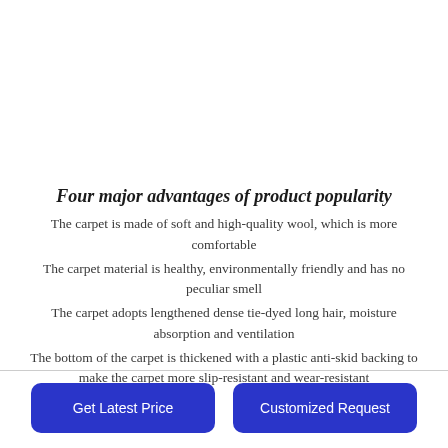Four major advantages of product popularity
The carpet is made of soft and high-quality wool, which is more comfortable
The carpet material is healthy, environmentally friendly and has no peculiar smell
The carpet adopts lengthened dense tie-dyed long hair, moisture absorption and ventilation
The bottom of the carpet is thickened with a plastic anti-skid backing to make the carpet more slip-resistant and wear-resistant